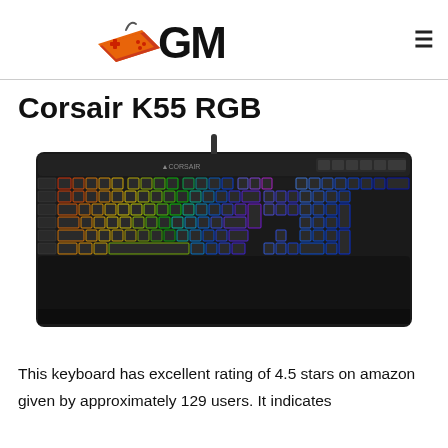GM (gaming/media website logo with hamburger menu)
Corsair K55 RGB
[Figure (photo): Photo of the Corsair K55 RGB gaming keyboard with RGB backlit keys (rainbow gradient across main keys, blue on numpad), black body, wrist rest, and USB cable visible at top center.]
This keyboard has excellent rating of 4.5 stars on amazon given by approximately 129 users. It indicates